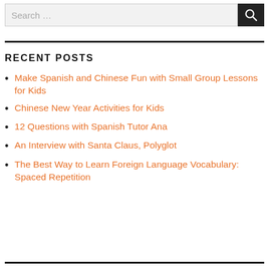Search …
RECENT POSTS
Make Spanish and Chinese Fun with Small Group Lessons for Kids
Chinese New Year Activities for Kids
12 Questions with Spanish Tutor Ana
An Interview with Santa Claus, Polyglot
The Best Way to Learn Foreign Language Vocabulary: Spaced Repetition